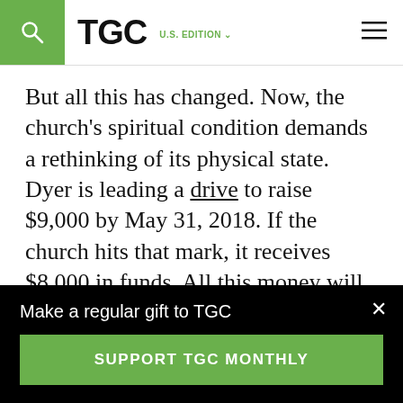TGC | U.S. EDITION
But all this has changed. Now, the church's spiritual condition demands a rethinking of its physical state. Dyer is leading a drive to raise $9,000 by May 31, 2018. If the church hits that mark, it receives $8,000 in funds. All this money will go toward the physical renovation of the building. Such endeavors aren't cheap, as many pastors know well; the price tag for
Make a regular gift to TGC
SUPPORT TGC MONTHLY